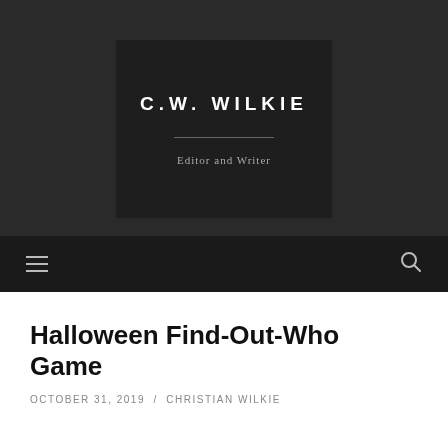[Figure (logo): C.W. Wilkie logo box on dark background with name in bold uppercase letters, a horizontal divider, and subtitle 'Editor and Writer']
C.W. WILKIE / Editor and Writer
Halloween Find-Out-Who Game
OCTOBER 31, 2019 / CHRISTIAN WILKIE